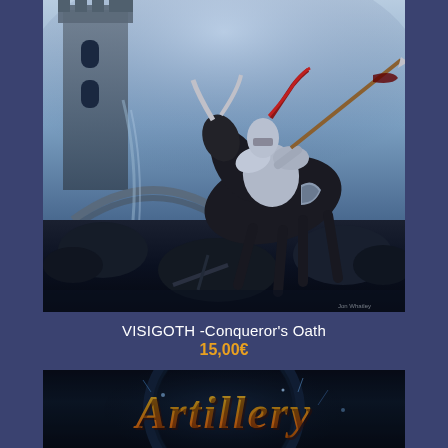[Figure (illustration): Fantasy illustration of an armored knight on a rearing black horse, wielding a lance, in front of a dark castle with a stone arch bridge and blue atmospheric background. Album cover art for VISIGOTH - Conqueror's Oath.]
VISIGOTH -Conqueror's Oath
15,00€
[Figure (illustration): Partial album cover showing stylized golden fantasy lettering reading 'Artillery' on a dark, textured background with electric/spark effects.]